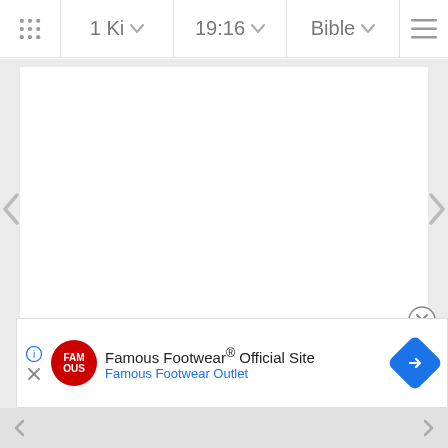1 Ki  19:16  Bible
[Figure (screenshot): Bible app screenshot showing navigation bar with book selector '1 Ki', chapter/verse selector '19:16', 'Bible' dropdown, and hamburger menu. Main content area is blank/white (loading). Left and right navigation arrows on sides. Advertisement banner at bottom for 'Famous Footwear® Official Site - Famous Footwear Outlet' with red logo, blue navigation arrow icon, info icon, and close X button.]